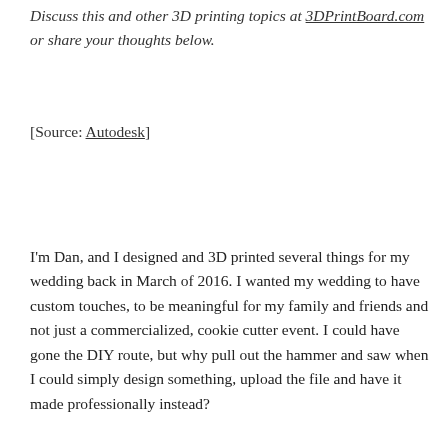Discuss this and other 3D printing topics at 3DPrintBoard.com or share your thoughts below.
[Source: Autodesk]
I'm Dan, and I designed and 3D printed several things for my wedding back in March of 2016. I wanted my wedding to have custom touches, to be meaningful for my family and friends and not just a commercialized, cookie cutter event. I could have gone the DIY route, but why pull out the hammer and saw when I could simply design something, upload the file and have it made professionally instead?